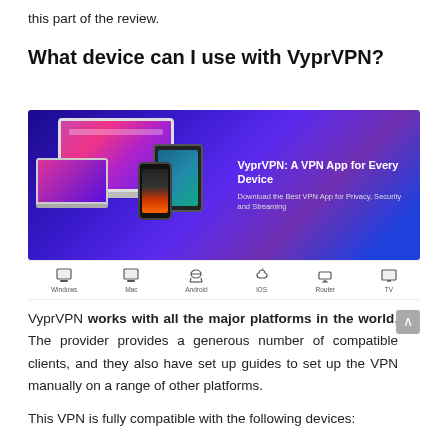this part of the review.
What device can I use with VyprVPN?
[Figure (screenshot): VyprVPN promotional banner showing multiple devices (laptop, tablet, phone) with text 'VyprVPN: A VPN App for Every Device' and subtitle 'Download the Best VPN App for Privacy, Security and Streaming'. Below the banner are icons for Windows, Mac, Android, iOS, Router, and TV platforms.]
VyprVPN works with all the major platforms in the world. The provider provides a generous number of compatible clients, and they also have set up guides to set up the VPN manually on a range of other platforms.
This VPN is fully compatible with the following devices: